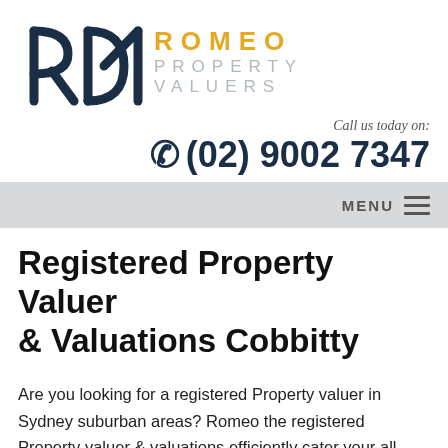[Figure (logo): Romeo Property Valuers logo with RPA letters in dark navy and 'ROMEO' in gold, 'PROPERTY VALUERS' in light grey]
Call us today on: ☎ (02) 9002 7347
MENU ☰
Registered Property Valuer & Valuations Cobbitty
Are you looking for a registered Property valuer in Sydney suburban areas? Romeo the registered Property valuer & valuations efficiently cater your all property analysing requirements in which you can be rest assured that your property analysis will be precise. With an extensive